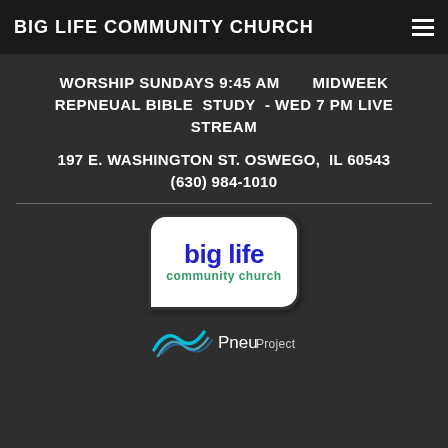BIG LIFE COMMUNITY CHURCH
WORSHIP SUNDAYS 9:45 AM        MIDWEEK REPNEUAL BIBLE  STUDY  - WED 7 PM LIVE STREAM
197 E. WASHINGTON ST. OSWEGO,  IL 60543
(630) 984-1010
[Figure (logo): Big Life Community Church logo: white rounded rectangle with blue 'big life' text and green 'community church' text below]
[Figure (logo): Pneu Project logo with stylized wave/swoosh icon in teal and the text 'Pneu Project']